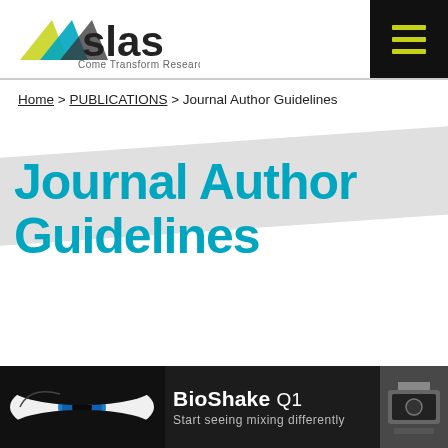[Figure (logo): SLAS logo with triangular icon and text 'Come Transform Research']
[Figure (other): Hamburger menu button (3 yellow-green lines on black background)]
Home > PUBLICATIONS > Journal Author Guidelines
Journal Author Guidelines
[Figure (photo): BioShake Q1 advertisement banner - shows blue human eye on dark background, text 'BioShake Q1 Start seeing mixing differently', and lab equipment on the right]